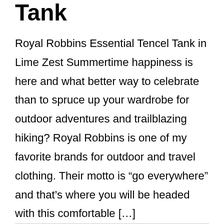Tank
Royal Robbins Essential Tencel Tank in Lime Zest Summertime happiness is here and what better way to celebrate than to spruce up your wardrobe for outdoor adventures and trailblazing hiking? Royal Robbins is one of my favorite brands for outdoor and travel clothing. Their motto is “go everywhere” and that’s where you will be headed with this comfortable [...]